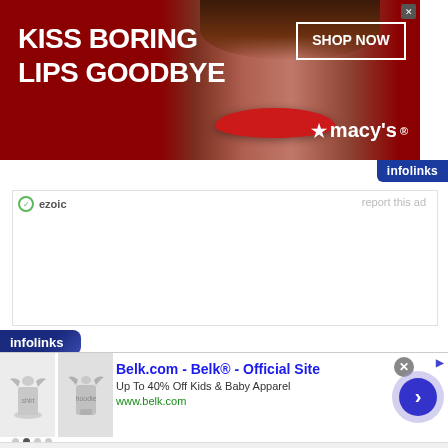[Figure (photo): Macy's advertisement banner: 'KISS BORING LIPS GOODBYE' with a woman's face and red lips. SHOP NOW button and Macy's logo with star. Red background.]
infolinks
[Figure (other): Ezoic ad placeholder white rectangle with ezoic branding and 'report this ad' link]
ezoic
report this ad
infolinks
[Figure (other): Belk.com advertisement: 'Belk.com - Belk® - Official Site. Up To 40% Off Kids & Baby Apparel. www.belk.com' with product images of children's clothing and navigation arrow.]
Belk.com - Belk® - Official Site
Up To 40% Off Kids & Baby Apparel
www.belk.com